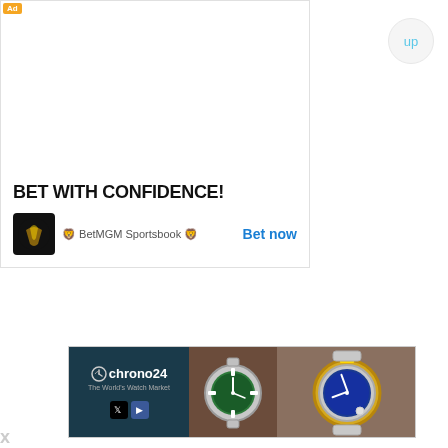[Figure (illustration): BetMGM Sportsbook advertisement banner with lion logo, text BET WITH CONFIDENCE!, BetMGM Sportsbook branding, and Bet now call-to-action button]
[Figure (illustration): Chrono24 watch marketplace advertisement showing chrono24 logo on dark background with two luxury watch photos (green-dial Rolex Submariner and blue-dial Rolex Submariner)]